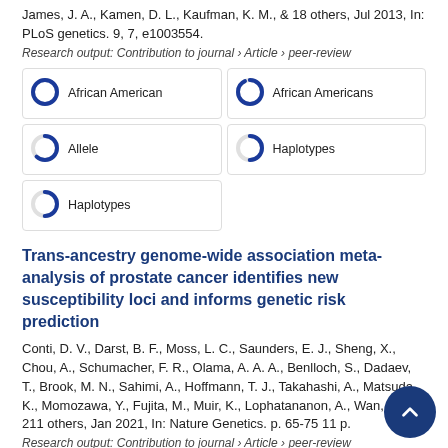James, J. A., Kamen, D. L., Kaufman, K. M., & 18 others, Jul 2013, In: PLoS genetics. 9, 7, e1003554.
Research output: Contribution to journal › Article › peer-review
[Figure (infographic): Four keyword badge boxes arranged in a 2x2 grid plus one additional: African American (100% donut), African Americans (90% donut), Allele (60% donut), Haplotypes (50% donut), Haplotypes (50% donut)]
Trans-ancestry genome-wide association meta-analysis of prostate cancer identifies new susceptibility loci and informs genetic risk prediction
Conti, D. V., Darst, B. F., Moss, L. C., Saunders, E. J., Sheng, X., Chou, A., Schumacher, F. R., Olama, A. A. A., Benlloch, S., Dadaev, T., Brook, M. N., Sahimi, A., Hoffmann, T. J., Takahashi, A., Matsuda, K., Momozawa, Y., Fujita, M., Muir, K., Lophatananon, A., Wan, P., & 211 others, Jan 2021, In: Nature Genetics. p. 65-75 11 p.
Research output: Contribution to journal › Article › peer-review